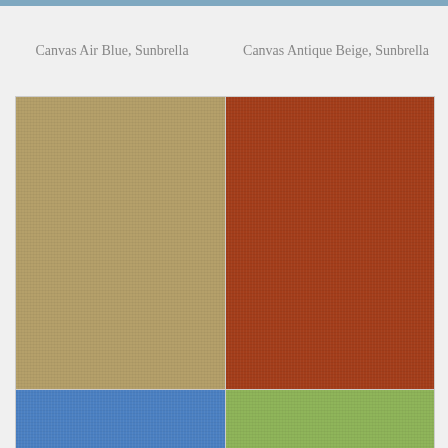Canvas Air Blue, Sunbrella
Canvas Antique Beige, Sunbrella
[Figure (photo): Fabric swatch showing Canvas Brass, Sunbrella - a golden tan/brass colored textile with subtle woven texture]
[Figure (photo): Fabric swatch showing Canvas Brick, Sunbrella - a deep reddish-brown brick colored textile with subtle woven texture]
Canvas Brass, Sunbrella
Canvas Brick, Sunbrella
[Figure (photo): Partial fabric swatch showing Canvas Blue (cornflower blue colored textile)]
[Figure (photo): Partial fabric swatch showing Canvas Green (sage/olive green colored textile)]